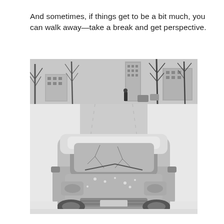And sometimes, if things get to be a bit much, you can walk away—take a break and get perspective.
[Figure (photo): Black and white photograph of a snow-covered car (compact sedan, front view) parked on a snowy road lined with bare trees and apartment buildings in the background. A person is visible walking away in the distance. The scene depicts a cold winter day.]